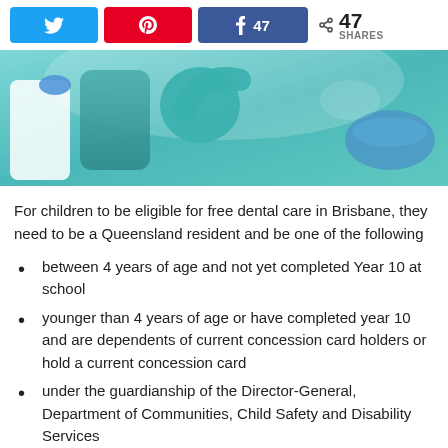[Figure (screenshot): Social share bar with Twitter, Pinterest, Facebook buttons and share count of 47]
[Figure (photo): Dental clinic scene with a patient in a teal dental chair and dental professionals in white coats]
For children to be eligible for free dental care in Brisbane, they need to be a Queensland resident and be one of the following
between 4 years of age and not yet completed Year 10 at school
younger than 4 years of age or have completed year 10 and are dependents of current concession card holders or hold a current concession card
under the guardianship of the Director-General, Department of Communities, Child Safety and Disability Services